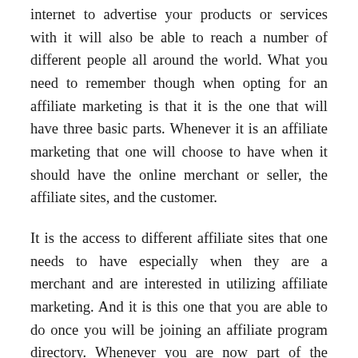internet to advertise your products or services with it will also be able to reach a number of different people all around the world. What you need to remember though when opting for an affiliate marketing is that it is the one that will have three basic parts. Whenever it is an affiliate marketing that one will choose to have when it should have the online merchant or seller, the affiliate sites, and the customer.
It is the access to different affiliate sites that one needs to have especially when they are a merchant and are interested in utilizing affiliate marketing. And it is this one that you are able to do once you will be joining an affiliate program directory. Whenever you are now part of the directory then it will be the one that will be attracting different affiliate sites. It is also with the directory that different website owners will be able to get in contact with you. Another thing that the directory will also be doing is to take care of the payments made by the affiliate websites.